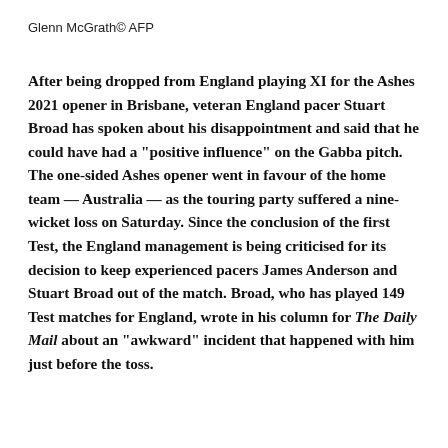Glenn McGrath© AFP
After being dropped from England playing XI for the Ashes 2021 opener in Brisbane, veteran England pacer Stuart Broad has spoken about his disappointment and said that he could have had a "positive influence" on the Gabba pitch. The one-sided Ashes opener went in favour of the home team — Australia — as the touring party suffered a nine-wicket loss on Saturday. Since the conclusion of the first Test, the England management is being criticised for its decision to keep experienced pacers James Anderson and Stuart Broad out of the match. Broad, who has played 149 Test matches for England, wrote in his column for The Daily Mail about an "awkward" incident that happened with him just before the toss.